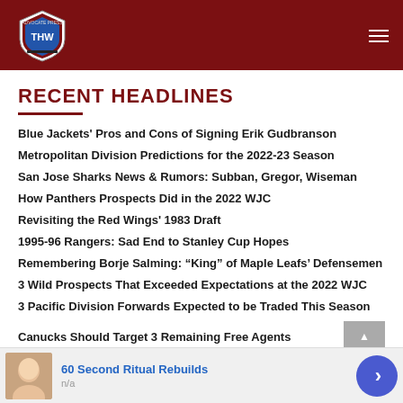THW
RECENT HEADLINES
Blue Jackets’ Pros and Cons of Signing Erik Gudbranson
Metropolitan Division Predictions for the 2022-23 Season
San Jose Sharks News & Rumors: Subban, Gregor, Wiseman
How Panthers Prospects Did in the 2022 WJC
Revisiting the Red Wings’ 1983 Draft
1995-96 Rangers: Sad End to Stanley Cup Hopes
Remembering Borje Salming: “King” of Maple Leafs’ Defensemen
3 Wild Prospects That Exceeded Expectations at the 2022 WJC
3 Pacific Division Forwards Expected to be Traded This Season
Canucks Should Target 3 Remaining Free Agents
[Figure (advertisement): Ad banner with face photo, text '60 Second Ritual Rebuilds', subtext 'n/a', and a blue circular arrow button]